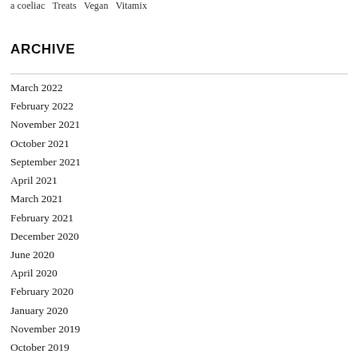a coeliac  Treats  Vegan  Vitamix
ARCHIVE
March 2022
February 2022
November 2021
October 2021
September 2021
April 2021
March 2021
February 2021
December 2020
June 2020
April 2020
February 2020
January 2020
November 2019
October 2019
September 2019
August 2019